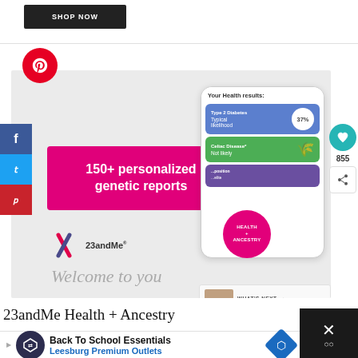[Figure (screenshot): SHOP NOW button on dark background]
[Figure (screenshot): Pinterest red circle icon]
[Figure (screenshot): 23andMe Health + Ancestry promotional image showing phone mockup with health results, 150+ personalized genetic reports banner, 23andMe logo, Welcome text, social share sidebar, heart/share action buttons, Health+Ancestry badge, and What's Next sidebar]
23andMe Health + Ancestry
[Figure (screenshot): Advertisement: Back To School Essentials - Leesburg Premium Outlets with play button, logo, and direction icon]